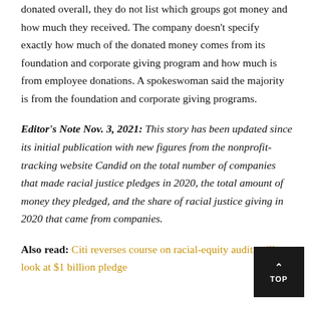donated overall, they do not list which groups got money and how much they received. The company doesn't specify exactly how much of the donated money comes from its foundation and corporate giving program and how much is from employee donations. A spokeswoman said the majority is from the foundation and corporate giving programs.
Editor's Note Nov. 3, 2021: This story has been updated since its initial publication with new figures from the nonprofit-tracking website Candid on the total number of companies that made racial justice pledges in 2020, the total amount of money they pledged, and the share of racial justice giving in 2020 that came from companies.
Also read: Citi reverses course on racial-equity audit, will look at $1 billion pledge